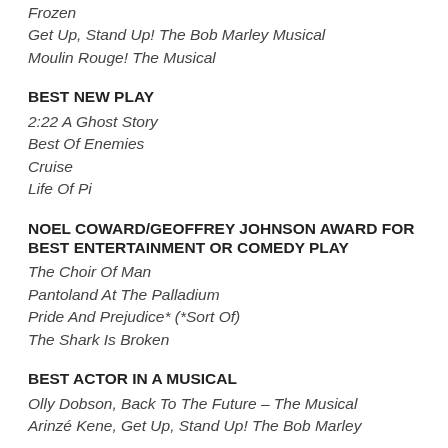Frozen
Get Up, Stand Up! The Bob Marley Musical
Moulin Rouge! The Musical
BEST NEW PLAY
2:22 A Ghost Story
Best Of Enemies
Cruise
Life Of Pi
NOEL COWARD/GEOFFREY JOHNSON AWARD FOR BEST ENTERTAINMENT OR COMEDY PLAY
The Choir Of Man
Pantoland At The Palladium
Pride And Prejudice* (*Sort Of)
The Shark Is Broken
BEST ACTOR IN A MUSICAL
Olly Dobson, Back To The Future – The Musical
Arinzé Kene, Get Up, Stand Up! The Bob Marley Musical